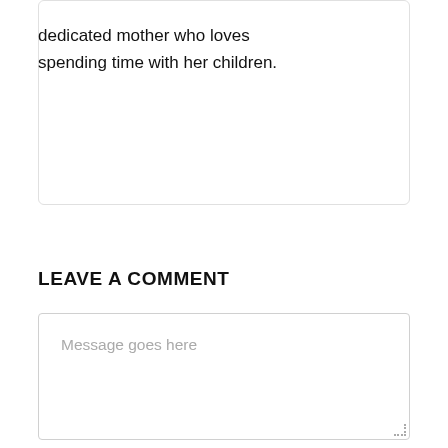dedicated mother who loves spending time with her children.
LEAVE A COMMENT
Message goes here